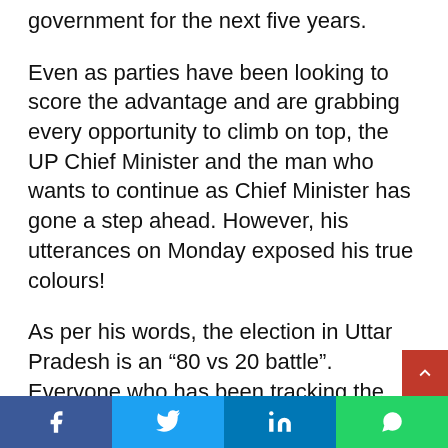government for the next five years.
Even as parties have been looking to score the advantage and are grabbing every opportunity to climb on top, the UP Chief Minister and the man who wants to continue as Chief Minister has gone a step ahead. However, his utterances on Monday exposed his true colours!
As per his words, the election in Uttar Pradesh is an ‘80 vs 20 battle”. Everyone who has been tracking the state’s political, and social environment clearly knows that Adityanath’s